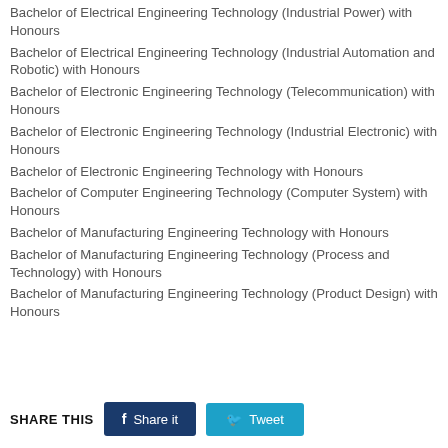Bachelor of Electrical Engineering Technology (Industrial Power) with Honours
Bachelor of Electrical Engineering Technology (Industrial Automation and Robotic) with Honours
Bachelor of Electronic Engineering Technology (Telecommunication) with Honours
Bachelor of Electronic Engineering Technology (Industrial Electronic) with Honours
Bachelor of Electronic Engineering Technology with Honours
Bachelor of Computer Engineering Technology (Computer System) with Honours
Bachelor of Manufacturing Engineering Technology with Honours
Bachelor of Manufacturing Engineering Technology (Process and Technology) with Honours
Bachelor of Manufacturing Engineering Technology (Product Design) with Honours
SHARE THIS  Share it  Tweet